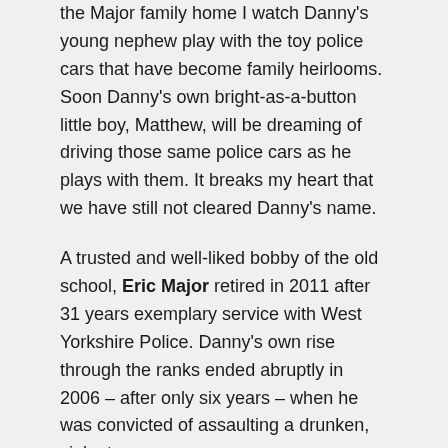the Major family home I watch Danny's young nephew play with the toy police cars that have become family heirlooms. Soon Danny's own bright-as-a-button little boy, Matthew, will be dreaming of driving those same police cars as he plays with them. It breaks my heart that we have still not cleared Danny's name.

A trusted and well-liked bobby of the old school, Eric Major retired in 2011 after 31 years exemplary service with West Yorkshire Police. Danny's own rise through the ranks ended abruptly in 2006 – after only six years – when he was convicted of assaulting a drunken, violent